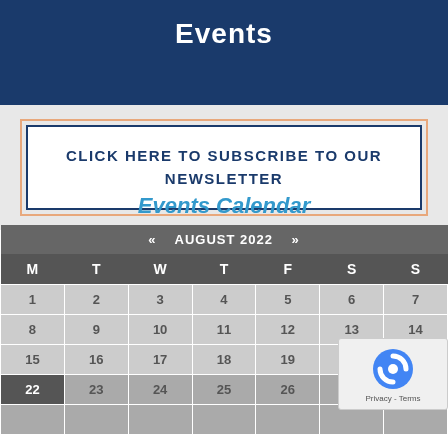Events
CLICK HERE TO SUBSCRIBE TO OUR NEWSLETTER
Events Calendar
| M | T | W | T | F | S | S |
| --- | --- | --- | --- | --- | --- | --- |
| 1 | 2 | 3 | 4 | 5 | 6 | 7 |
| 8 | 9 | 10 | 11 | 12 | 13 | 14 |
| 15 | 16 | 17 | 18 | 19 | 20 |  |
| 22 | 23 | 24 | 25 | 26 | 27 |  |
|  |  |  |  |  |  |  |